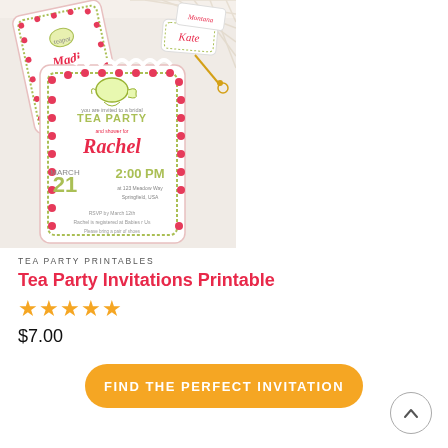[Figure (photo): Tea party invitation printable cards with floral borders in pink, red and green, showing multiple tag-style invitations with names like Madi, Rachel, Kate, text reading TEA PARTY and details, arranged on a white surface]
TEA PARTY PRINTABLES
Tea Party Invitations Printable
★★★★★
$7.00
FIND THE PERFECT INVITATION